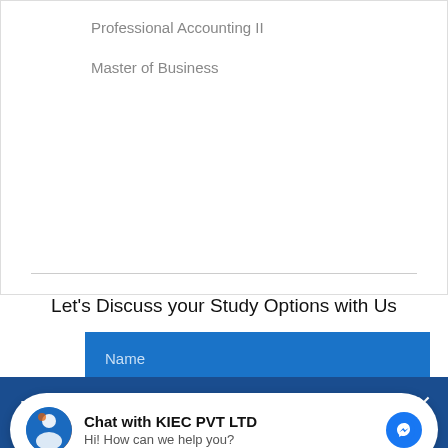Professional Accounting II
Master of Business
Let's Discuss your Study Options with Us
Name
Do you want to get Sample Documents directly into your email?
Statement of Purpose | Work Experience | CV/Resume | Academic Document Sample | Sample Documents for Australia & USA | Newsletters and many more!
Chat with KIEC PVT LTD
Hi! How can we help you?